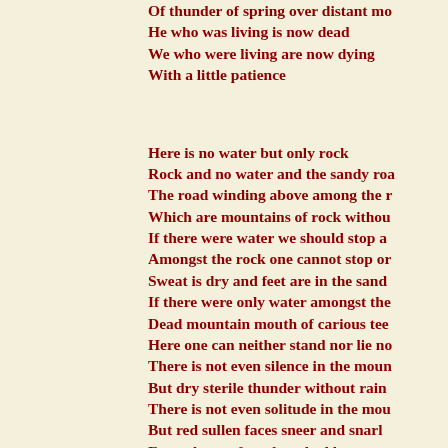[Flash and pause and...]
Of thunder of spring over distant mo...
He who was living is now dead
We who were living are now dying
With a little patience


Here is no water but only rock
Rock and no water and the sandy roa...
The road winding above among the r...
Which are mountains of rock withou...
If there were water we should stop a...
Amongst the rock one cannot stop or...
Sweat is dry and feet are in the sand
If there were only water amongst the...
Dead mountain mouth of carious tee...
Here one can neither stand nor lie no...
There is not even silence in the moun...
But dry sterile thunder without rain
There is not even solitude in the mou...
But red sullen faces sneer and snarl
From doors of mudcracked houses
                                    If there w...
        And no rock
        If there were rock
        And also water
        And water
        A spring